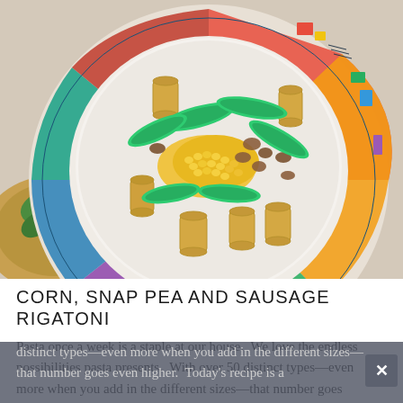[Figure (photo): Overhead photo of a bowl of rigatoni pasta with corn, snap peas, and sausage, served on a colorful patterned plate. A salad bowl is partially visible in the lower left corner.]
CORN, SNAP PEA AND SAUSAGE RIGATONI
Pasta once a week is a staple at our house.  We love the endless possibilities pasta presents.  With over 50 distinct types—even more when you add in the different sizes—that number goes even higher.  Today's recipe is a